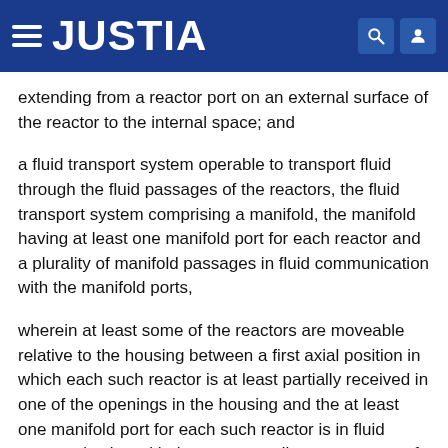JUSTIA
extending from a reactor port on an external surface of the reactor to the internal space; and
a fluid transport system operable to transport fluid through the fluid passages of the reactors, the fluid transport system comprising a manifold, the manifold having at least one manifold port for each reactor and a plurality of manifold passages in fluid communication with the manifold ports,
wherein at least some of the reactors are moveable relative to the housing between a first axial position in which each such reactor is at least partially received in one of the openings in the housing and the at least one manifold port for each such reactor is in fluid communication with the corresponding reactor port of the reactor